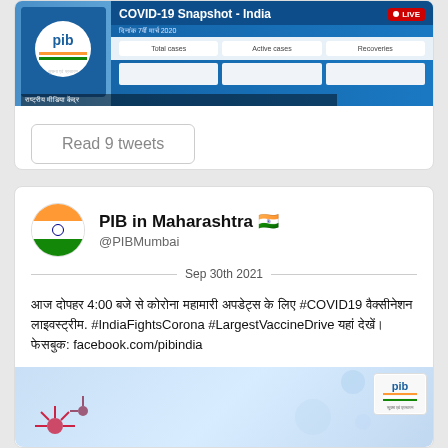[Figure (screenshot): COVID-19 Snapshot India dashboard screenshot showing Total cases, Active cases, Recoveries columns with PIB logo and LIVE badge]
Read 9 tweets
PIB in Maharashtra 🇮🇳
@PIBMumbai
Sep 30th 2021
आज दोपहर 4:00 बजे से कोरोना महामारी अपडेट्स के लिए #COVID19 वैक्सीनेशन लाइवस्ट्रीम. #IndiaFightsCorona #LargestVaccineDrive यहां देखें: फेसबुक: facebook.com/pibindia
[Figure (screenshot): PIB COVID vaccination awareness graphic with light blue background and decorative elements]